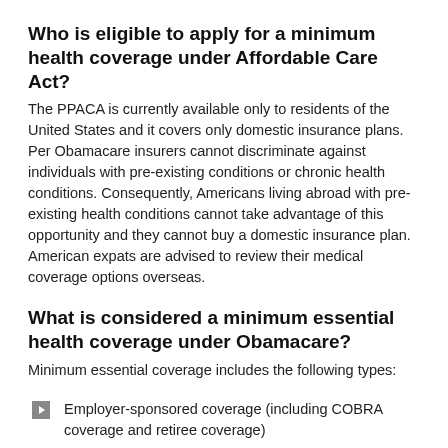Who is eligible to apply for a minimum health coverage under Affordable Care Act?
The PPACA is currently available only to residents of the United States and it covers only domestic insurance plans. Per Obamacare insurers cannot discriminate against individuals with pre-existing conditions or chronic health conditions. Consequently, Americans living abroad with pre-existing health conditions cannot take advantage of this opportunity and they cannot buy a domestic insurance plan. American expats are advised to review their medical coverage options overseas.
What is considered a minimum essential health coverage under Obamacare?
Minimum essential coverage includes the following types:
Employer-sponsored coverage (including COBRA coverage and retiree coverage)